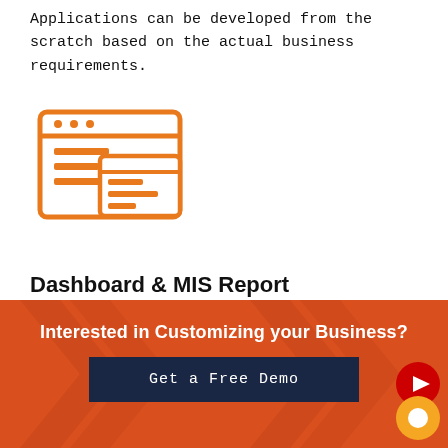Applications can be developed from the scratch based on the actual business requirements.
[Figure (illustration): Orange line-art icon of a computer browser window with a smaller window/dashboard overlay, representing dashboard customization.]
Dashboard & MIS Report Customization
We help you to modify the existing dashboards in Odoo or create entirely new dashboards based on your custom requirements by integrating third party tools (Pentaho, Kibana, etc)
Interested in Customizing your Business?
Get a Free Demo